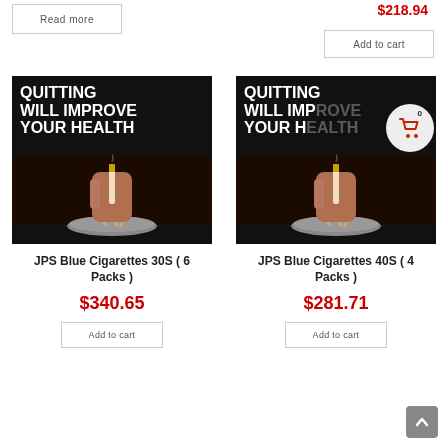Read more
$218.94
Add to cart
[Figure (photo): Cigarette pack product image showing 'QUITTING WILL IMPROVE YOUR HEALTH' warning with hand stubbing out cigarette in ashtray - JPS Blue Cigarettes 30S (6 Packs)]
JPS Blue Cigarettes 30S ( 6 Packs )
$340.65
Add to cart
[Figure (photo): Cigarette pack product image showing 'QUITTING WILL IMPROVE YOUR HEALTH' warning with hand stubbing out cigarette in ashtray - JPS Blue Cigarettes 40S (4 Packs), partially obscured by shopping cart overlay button]
JPS Blue Cigarettes 40S ( 4 Packs )
$281.71
Add to cart